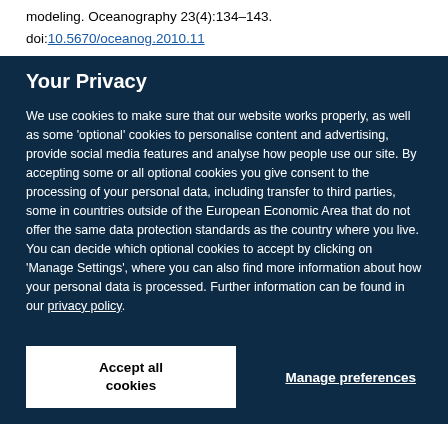thickness and kinematics: satellite retrievals and modeling. Oceanography 23(4):134–143.
doi:10.5670/oceanog.2010.11
Your Privacy
We use cookies to make sure that our website works properly, as well as some 'optional' cookies to personalise content and advertising, provide social media features and analyse how people use our site. By accepting some or all optional cookies you give consent to the processing of your personal data, including transfer to third parties, some in countries outside of the European Economic Area that do not offer the same data protection standards as the country where you live. You can decide which optional cookies to accept by clicking on 'Manage Settings', where you can also find more information about how your personal data is processed. Further information can be found in our privacy policy.
Accept all cookies
Manage preferences